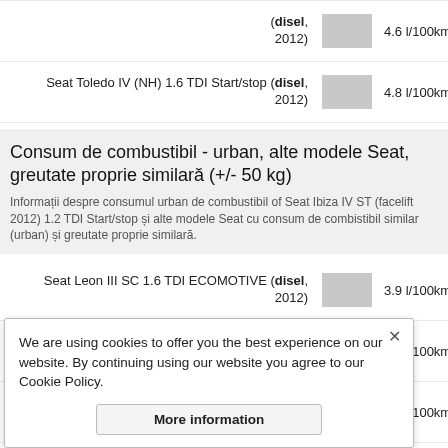(disel, 2012) 4.6 l/100km / 51.13 …
Seat Toledo IV (NH) 1.6 TDI Start/stop (disel, 2012) 4.8 l/100km / 49.00 …
Consum de combustibil - urban, alte modele Seat, greutate proprie similară (+/- 50 kg)
Informații despre consumul urban de combustibil of Seat Ibiza IV ST (facelift 2012) 1.2 TDI Start/stop și alte modele Seat cu consum de combistibil similar (urban) și greutate proprie similară.
Seat Leon III SC 1.6 TDI ECOMOTIVE (disel, 2012) 3.9 l/100km / 60.31 mpg
Seat Ibiza IV ST (facelift 2012) 1.2 TDI Start/stop (disel, 2012) 4.1 l/100km / 57.37 mpg
Seat Ibiza IV ST (facelift 2012) 1.2 TDI (disel, 2012) 4.9 l/100km / 48.00 …
5.1 l/100km / 46.12 …
5.1 l/100km / 46.12 …
5.1 l/100km / 46.12 …
We are using cookies to offer you the best experience on our website. By continuing using our website you agree to our Cookie Policy.
More information